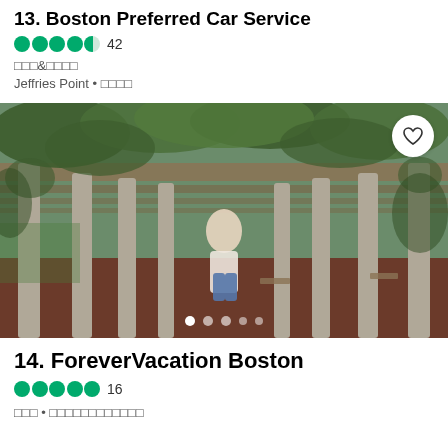13. Boston Preferred Car Service
★★★★½  42
□□□&□□□□
Jeffries Point • □□□□
[Figure (photo): Person standing under a vine-covered pergola walkway in a park, with columns lining both sides and green foliage overhead. A heart/favorite button is visible in the top right corner. Carousel dots appear at the bottom.]
14. ForeverVacation Boston
●●●●●  16
□□□ • □□□□□□□□□□□□